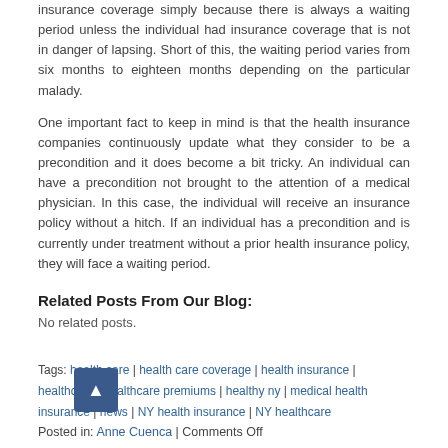insurance coverage simply because there is always a waiting period unless the individual had insurance coverage that is not in danger of lapsing. Short of this, the waiting period varies from six months to eighteen months depending on the particular malady.
One important fact to keep in mind is that the health insurance companies continuously update what they consider to be a precondition and it does become a bit tricky. An individual can have a precondition not brought to the attention of a medical physician. In this case, the individual will receive an insurance policy without a hitch. If an individual has a precondition and is currently under treatment without a prior health insurance policy, they will face a waiting period.
Related Posts From Our Blog:
No related posts.
Tags: health care | health care coverage | health insurance | healthcare | healthcare premiums | healthy ny | medical health insurance | news | NY health insurance | NY healthcare
Posted in: Anne Cuenca | Comments Off
Categories
No categories